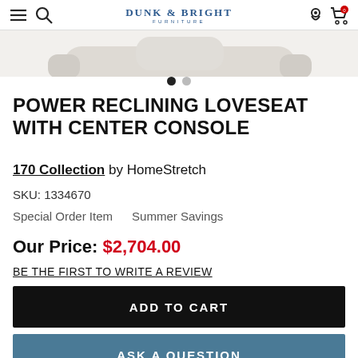Dunk & Bright Furniture
[Figure (photo): Partial view of a white/cream power reclining loveseat with center console, product image carousel with two dots indicator]
POWER RECLINING LOVESEAT WITH CENTER CONSOLE
170 Collection by HomeStretch
SKU: 1334670
Special Order Item    Summer Savings
Our Price: $2,704.00
BE THE FIRST TO WRITE A REVIEW
ADD TO CART
ASK A QUESTION